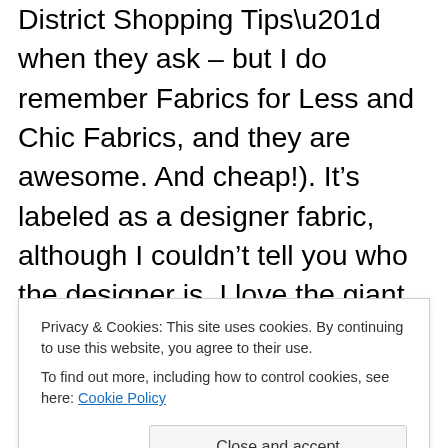District Shopping Tips” when they ask – but I do remember Fabrics for Less and Chic Fabrics, and they are awesome. And cheap!). It’s labeled as a designer fabric, although I couldn’t tell you who the designer is. I love the giant zigzag print and navy/white is one of my fave color combinations, so this one was a real win. Especially since it kind of reminds me of a comic book, thanks to the dots and this big zigzags. It wasn’t necessarily the cheapest fabric in the shop – I don’t remember what I paid for it, probably somewhere around $15-$20 a yard – but it was
Privacy & Cookies: This site uses cookies. By continuing to use this website, you agree to their use.
To find out more, including how to control cookies, see here: Cookie Policy
a hail. H’H’A. I don’t know how the hell was able to sek